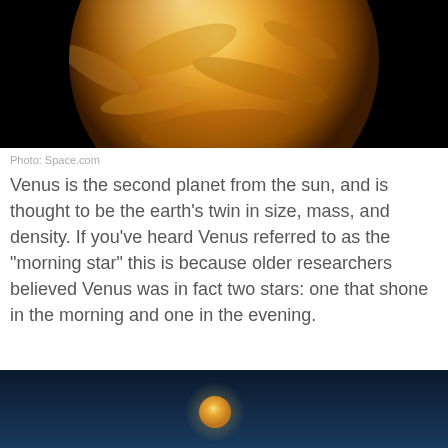[Figure (photo): Close-up image of Venus against a black background, showing its golden/orange surface details]
Photo: Space.com
Venus is the second planet from the sun, and is thought to be the earth's twin in size, mass, and density. If you’ve heard Venus referred to as the “morning star” this is because older researchers believed Venus was in fact two stars: one that shone in the morning and one in the evening.
[Figure (photo): Venus visible as a small glowing golden orb in a dark blue night sky]